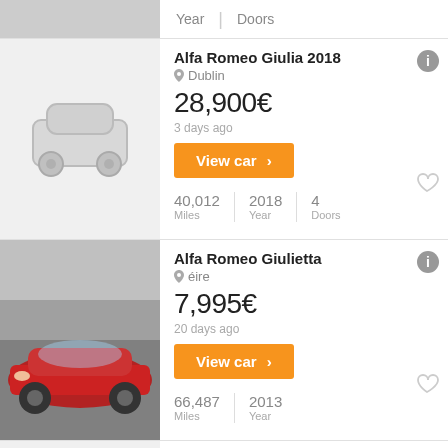Year | Doors
Alfa Romeo Giulia 2018
Dublin
28,900€
3 days ago
View car >
40,012 Miles | 2018 Year | 4 Doors
Alfa Romeo Giulietta
éire
7,995€
20 days ago
View car >
66,487 Miles | 2013 Year
Alfa Romeo Giulietta
éire
4,995€